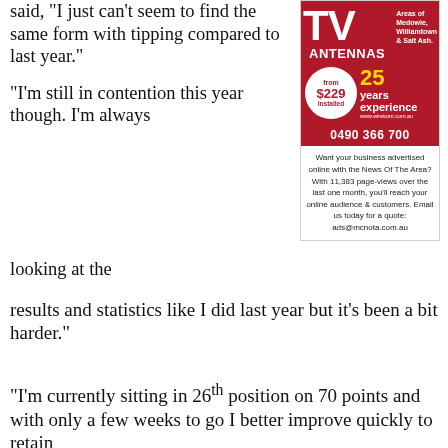said, “I just can’t seem to find the same form with tipping compared to last year.”
“I’m still in contention this year though. I’m always looking at the results and statistics like I did last year but it’s been a bit harder.”
[Figure (infographic): TV Antennas advertisement. Red background with 'TV ANTENNAS' in large text. Areas of Medowie, Williamtown & Salt Ash. From $229 installed. 25 years experience. www.wirekom.com.au. Phone: 0490 366 700.]
Want your business advertised online with the News Of The Area? With 11,383 page-views over the last one month, you’ll reach your online audience & customers. Email us today for a quote: ads@mcnota.com.au
“I’m currently sitting in 26th position on 70 points and with only a few weeks to go I better improve quickly to retain